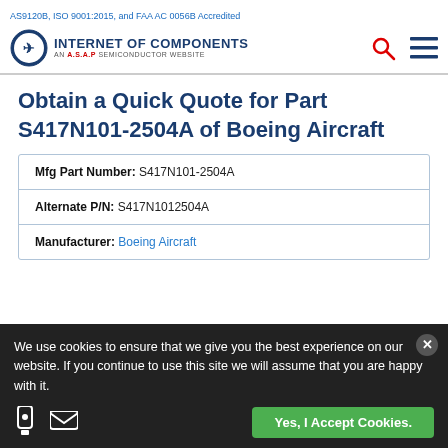AS9120B, ISO 9001:2015, and FAA AC 0056B Accredited
[Figure (logo): Internet of Components logo — circle with aircraft icon, text 'INTERNET OF COMPONENTS AN A.S.A.P SEMICONDUCTOR WEBSITE']
Obtain a Quick Quote for Part S417N101-2504A of Boeing Aircraft
| Mfg Part Number: | S417N101-2504A |
| Alternate P/N: | S417N1012504A |
| Manufacturer: | Boeing Aircraft |
We use cookies to ensure that we give you the best experience on our website. If you continue to use this site we will assume that you are happy with it.